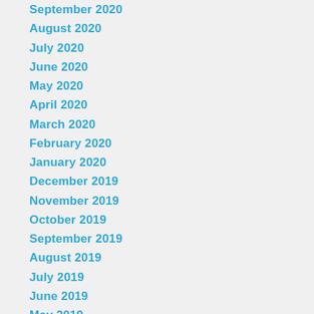September 2020
August 2020
July 2020
June 2020
May 2020
April 2020
March 2020
February 2020
January 2020
December 2019
November 2019
October 2019
September 2019
August 2019
July 2019
June 2019
May 2019
April 2019
March 2019
February 2019
January 2019
December 2018